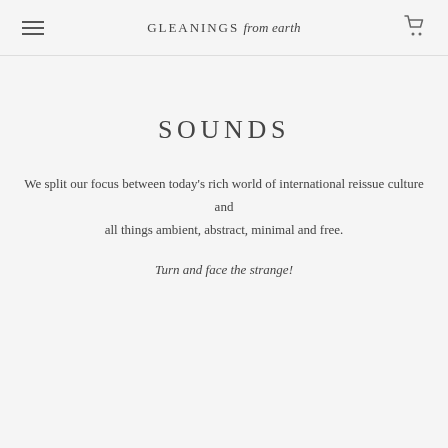GLEANINGS from earth
SOUNDS
We split our focus between today’s rich world of international reissue culture and all things ambient, abstract, minimal and free.
Turn and face the strange!